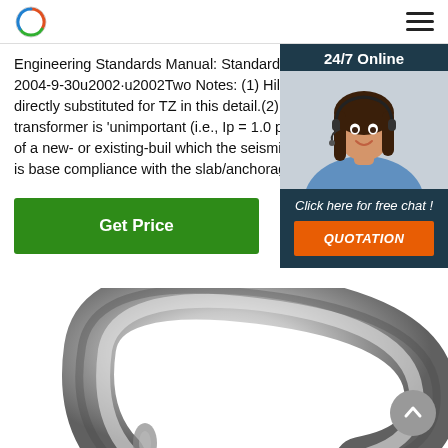Engineering Standards Manual: Standard Drawings & Details 2004-9-30u2002·u2002Two Notes: (1) Hilti KB-TZ2 may be directly substituted for TZ in this detail.(2) If the grade transformer is 'unimportant (i.e., Ip = 1.0 being installed as part of a new- or existing-buil which the seismic design of the building is base compliance with the slab/anchorage shown on S
[Figure (photo): Customer service representative - woman with headset smiling, used in 24/7 online chat widget]
[Figure (photo): Close-up photograph of a silver/chrome metallic carabiner or bolt anchor hardware product]